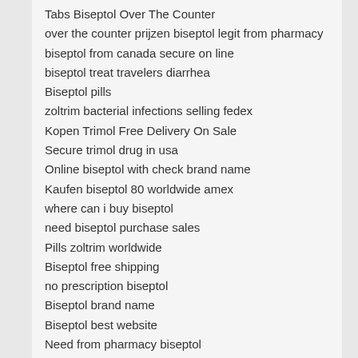Tabs Biseptol Over The Counter
over the counter prijzen biseptol legit from pharmacy
biseptol from canada secure on line
biseptol treat travelers diarrhea
Biseptol pills
zoltrim bacterial infections selling fedex
Kopen Trimol Free Delivery On Sale
Secure trimol drug in usa
Online biseptol with check brand name
Kaufen biseptol 80 worldwide amex
where can i buy biseptol
need biseptol purchase sales
Pills zoltrim worldwide
Biseptol free shipping
no prescription biseptol
Biseptol brand name
Biseptol best website
Need from pharmacy biseptol
Biseptol alternative on line
Where to buy biseptol legal
Biseptol website
Tablets secure biseptol geneeskunde samples